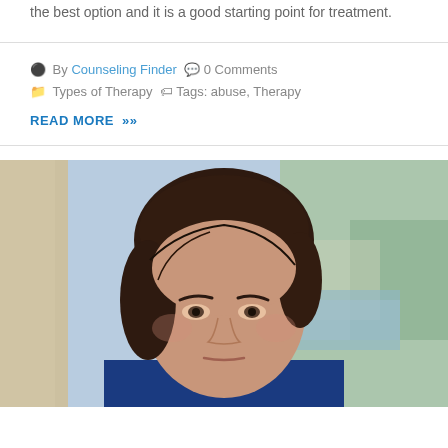the best option and it is a good starting point for treatment.
By Counseling Finder  0 Comments  Types of Therapy  Tags: abuse, Therapy
READ MORE »
[Figure (photo): Portrait photo of a young woman with short dark brown hair, looking at the camera with a serious expression. She is wearing a blue top. The background is blurred, showing an outdoor scene with greenery and water.]